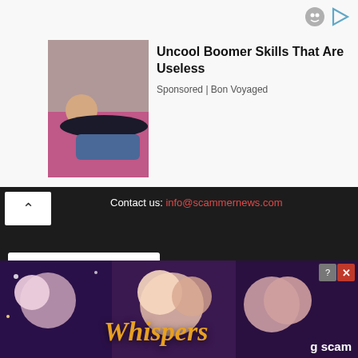[Figure (photo): Advertisement banner with a photo of a woman lying on a pink couch, wearing a black top and jeans. Ad title: Uncool Boomer Skills That Are Useless. Sponsored by Bon Voyaged.]
Uncool Boomer Skills That Are Useless
Sponsored | Bon Voyaged
Contact us: info@scammernews.com
LATEST ARTICLES
Cybersecurity chief warns ‘ransomware as a service’ scam
August 22, 2022
Sanjay Raut’s judicial custody extended till September… in money laundering scam
[Figure (illustration): Bottom advertisement overlay for the Whispers app/game, showing illustrated romantic characters. Logo text reads 'Whispers' in stylized orange font. Partial text '...g scam' visible at bottom right.]